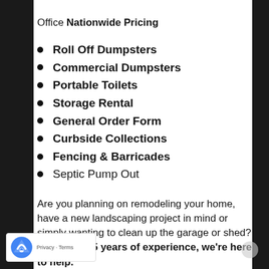Office Nationwide Pricing
Roll Off Dumpsters
Commercial Dumpsters
Portable Toilets
Storage Rental
General Order Form
Curbside Collections
Fencing & Barricades
Septic Pump Out
Are you planning on remodeling your home, have a new landscaping project in mind or simply wanting to clean up the garage or shed? With over 25 years of experience, we're here to help.